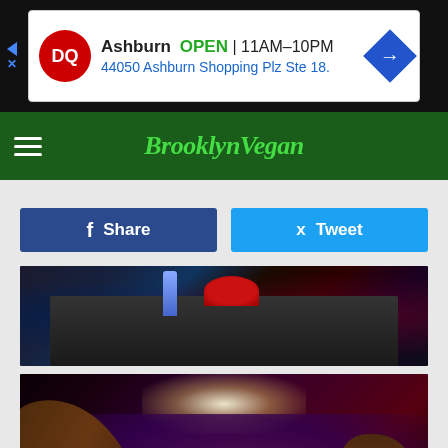[Figure (other): Dairy Queen advertisement banner: DQ logo, Ashburn OPEN 11AM-10PM, 44050 Ashburn Shopping Plz Ste 18.]
[Figure (logo): BrooklynVegan website navigation bar with hamburger menu and green italic logo]
[Figure (other): Facebook Share button (blue) and Twitter Tweet button (cyan) side by side]
[Figure (photo): Concert or event photo showing DJ equipment, a red hat, and sparkly jacket on a dark table]
[Figure (photo): Concert photo showing performer raising hand to crowd in a large venue with colorful lighting]
[Figure (other): Infinity Loop advertisement: Leesburg OPEN 10AM-9PM, 241 Fort Evans Rd NE, Leesburg]